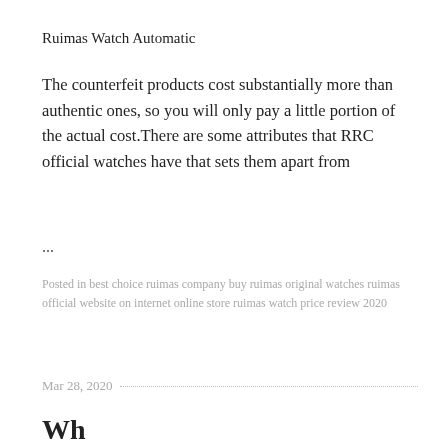Ruimas Watch Automatic
The counterfeit products cost substantially more than authentic ones, so you will only pay a little portion of the actual cost.There are some attributes that RRC official watches have that sets them apart from
...
Posted in best choice ruimas company buy ruimas original watches ruimas official website on internet online store ruimas watch price review 2020
Mar 28, 2020